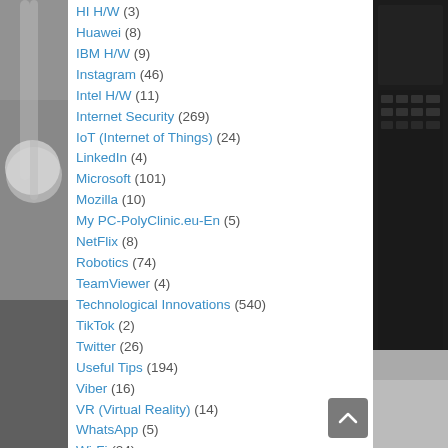HI H/W (3)
Huawei (8)
IBM H/W (9)
Instagram (46)
Intel H/W (11)
Internet Security (269)
IoT (Internet of Things) (24)
LinkedIn (4)
Microsoft (101)
Mozilla (10)
My PC-PolyClinic.eu-En (5)
NetFlix (8)
Robotics (74)
TeamViewer (4)
Technological Innovations (540)
TikTok (2)
Twitter (26)
Useful Tips (194)
Viber (16)
VR (Virtual Reality) (14)
WhatsApp (5)
Wi-Fi (24)